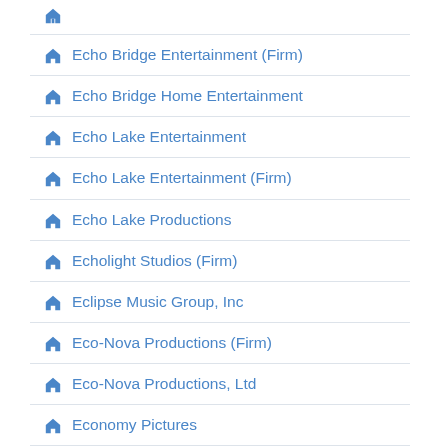Echo Bridge Entertainment (Firm)
Echo Bridge Home Entertainment
Echo Lake Entertainment
Echo Lake Entertainment (Firm)
Echo Lake Productions
Echolight Studios (Firm)
Eclipse Music Group, Inc
Eco-Nova Productions (Firm)
Eco-Nova Productions, Ltd
Economy Pictures
Ecosse Films (Firm)